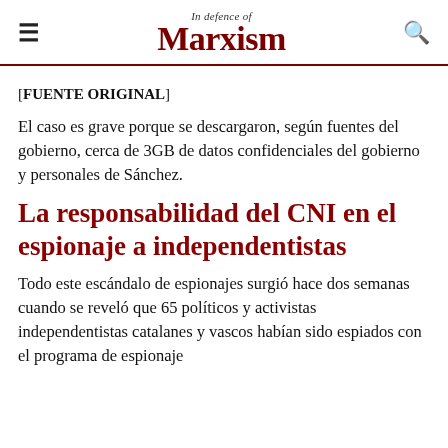In Defence of Marxism
[FUENTE ORIGINAL]
El caso es grave porque se descargaron, según fuentes del gobierno, cerca de 3GB de datos confidenciales del gobierno y personales de Sánchez.
La responsabilidad del CNI en el espionaje a independentistas
Todo este escándalo de espionajes surgió hace dos semanas cuando se reveló que 65 políticos y activistas independentistas catalanes y vascos habían sido espiados con el programa de espionaje